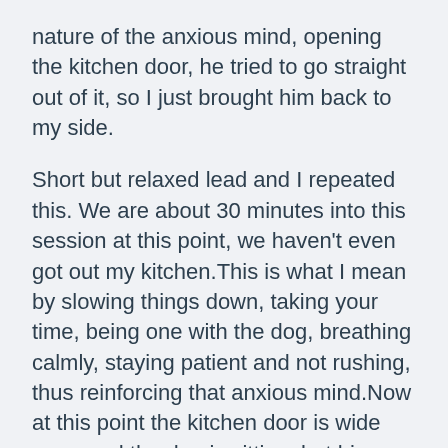nature of the anxious mind, opening the kitchen door, he tried to go straight out of it, so I just brought him back to my side.
Short but relaxed lead and I repeated this. We are about 30 minutes into this session at this point, we haven't even got out my kitchen.This is what I mean by slowing things down, taking your time, being one with the dog, breathing calmly, staying patient and not rushing, thus reinforcing that anxious mind.Now at this point the kitchen door is wide open and the dog is sitting, but his ears are up, his head is forward, his body stiff, he is not moving from that spot, but he is anything but relaxed. If we moved then, we teach the dog that fixating, being anxious, is what gets you going forward, we reinforce that mindset, so again, it's a